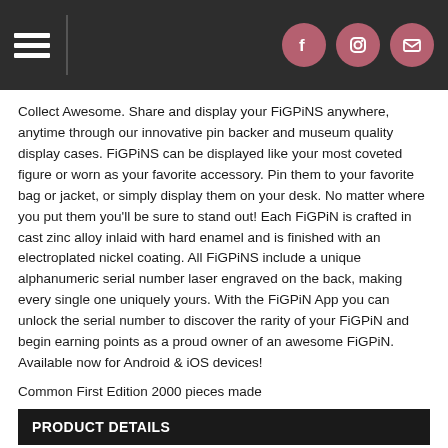FiGPiNS website header with hamburger menu and social icons (Facebook, Instagram, Email)
Collect Awesome. Share and display your FiGPiNS anywhere, anytime through our innovative pin backer and museum quality display cases. FiGPiNS can be displayed like your most coveted figure or worn as your favorite accessory. Pin them to your favorite bag or jacket, or simply display them on your desk. No matter where you put them you'll be sure to stand out! Each FiGPiN is crafted in cast zinc alloy inlaid with hard enamel and is finished with an electroplated nickel coating. All FiGPiNS include a unique alphanumeric serial number laser engraved on the back, making every single one uniquely yours. With the FiGPiN App you can unlock the serial number to discover the rarity of your FiGPiN and begin earning points as a proud owner of an awesome FiGPiN. Available now for Android & iOS devices!
Common First Edition 2000 pieces made
PRODUCT DETAILS
FiGPiN Number:Â 698
Ages 14+
Cast zinc alloy inlaid with hard synthetic color enamel.